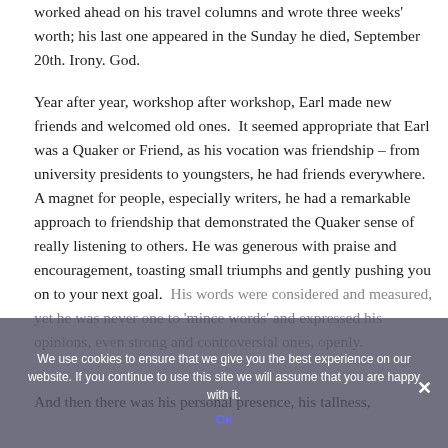worked ahead on his travel columns and wrote three weeks' worth; his last one appeared in the Sunday he died, September 20th. Irony. God.
Year after year, workshop after workshop, Earl made new friends and welcomed old ones.  It seemed appropriate that Earl was a Quaker or Friend, as his vocation was friendship – from university presidents to youngsters, he had friends everywhere.  A magnet for people, especially writers, he had a remarkable approach to friendship that demonstrated the Quaker sense of really listening to others. He was generous with praise and encouragement, toasting small triumphs and gently pushing you on to your next goal.  His words were considered and measured, yet he was never one to 'mince words' and expressed his opinions, even strong and controversial ones, openly.
And then there was his personal presence, his tallness,
We use cookies to ensure that we give you the best experience on our website. If you continue to use this site we will assume that you are happy with it.